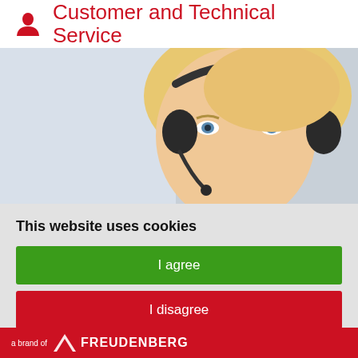Customer and Technical Service
[Figure (photo): Close-up photo of a blonde woman wearing a headset, customer service representative, smiling, looking at camera]
This website uses cookies
I agree
I disagree
At oks-germany.com we use cookies to track information about your visit. Cookies, including those from third parties, help us to improve our website and make you tailor-made offers to suit your
a brand of FREUDENBERG